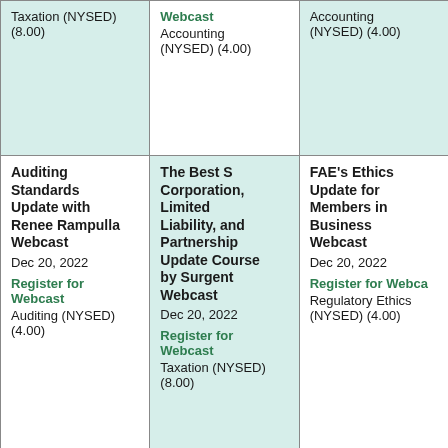| Column 1 | Column 2 | Column 3 |
| --- | --- | --- |
| Taxation (NYSED) (8.00) | Webcast
Accounting (NYSED) (4.00) | Accounting (NYSED) (4.00) |
| Auditing Standards Update with Renee Rampulla Webcast
Dec 20, 2022
Register for Webcast
Auditing (NYSED) (4.00) | The Best S Corporation, Limited Liability, and Partnership Update Course by Surgent Webcast
Dec 20, 2022
Register for Webcast
Taxation (NYSED) (8.00) | FAE's Ethics Update for Members in Business Webcast
Dec 20, 2022
Register for Webcast
Regulatory Ethics (NYSED) (4.00) |